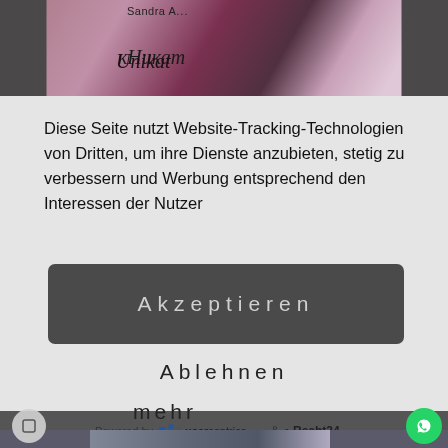[Figure (photo): Top banner showing painted fingernails with purple/mauve nail art, cursive text overlay reading 'Sandra A... Unikat']
Diese Seite nutzt Website-Tracking-Technologien von Dritten, um ihre Dienste anzubieten, stetig zu verbessern und Werbung entsprechend den Interessen der Nutzer
Akzeptieren
Ablehnen
mehr
Powered by  usercentrics  &  eRecht24
[Figure (photo): Bottom banner showing dark grey/teal painted fingernails with sparkle/glitter decoration]